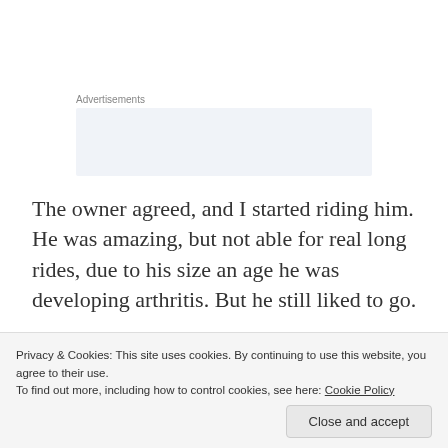Advertisements
[Figure (other): Advertisement placeholder box with light blue-grey background]
The owner agreed, and I started riding him. He was amazing, but not able for real long rides, due to his size an age he was developing arthritis. But he still liked to go.
When we sold the house, I was very sad. I would miss
Privacy & Cookies: This site uses cookies. By continuing to use this website, you agree to their use.
To find out more, including how to control cookies, see here: Cookie Policy
Close and accept